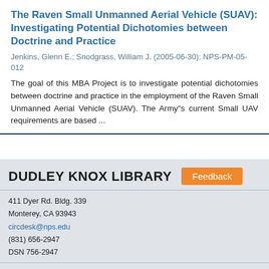The Raven Small Unmanned Aerial Vehicle (SUAV): Investigating Potential Dichotomies between Doctrine and Practice
Jenkins, Glenn E.; Snodgrass, William J. (2005-06-30); NPS-PM-05-012
The goal of this MBA Project is to investigate potential dichotomies between doctrine and practice in the employment of the Raven Small Unmanned Aerial Vehicle (SUAV). The Army"s current Small UAV requirements are based ...
DUDLEY KNOX LIBRARY Feedback 411 Dyer Rd. Bldg. 339 Monterey, CA 93943 circdesk@nps.edu (831) 656-2947 DSN 756-2947